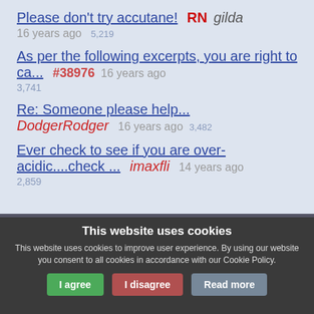Please don't try accutane! RN gilda — 16 years ago — 5,219
As per the following excerpts, you are right to ca... #38976 — 16 years ago — 3,741
Re: Someone please help... DodgerRodger — 16 years ago — 3,482
Ever check to see if you are over-acidic....check ... imaxfli — 14 years ago — 2,859
This website uses cookies
This website uses cookies to improve user experience. By using our website you consent to all cookies in accordance with our Cookie Policy.